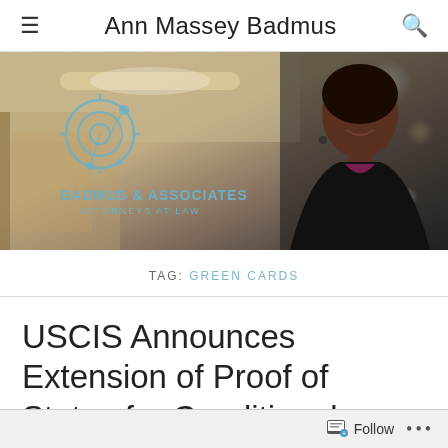Ann Massey Badmus
[Figure (photo): Hero banner photo showing a woman in a black blazer smiling, with the Badmus & Associates Attorneys at Law logo overlaid on the left side. Background shows an interior office/lobby setting.]
TAG: GREEN CARDS
USCIS Announces Extension of Proof of Status for Conditional